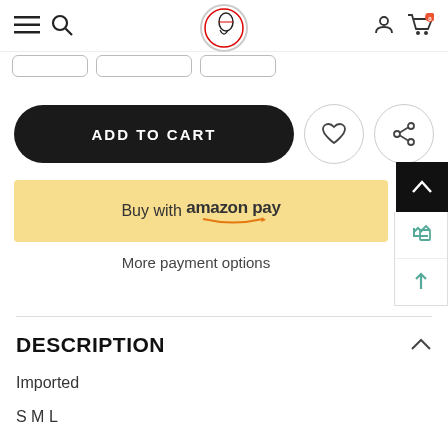Navigation bar with hamburger menu, search icon, logo, user icon, cart icon (0)
[Figure (screenshot): Three tab/filter buttons with rounded rectangle borders]
[Figure (screenshot): ADD TO CART button (black pill-shaped), heart/wishlist icon button, share icon button]
[Figure (screenshot): Buy with amazon pay button (yellow background)]
More payment options
DESCRIPTION
Imported
S M L